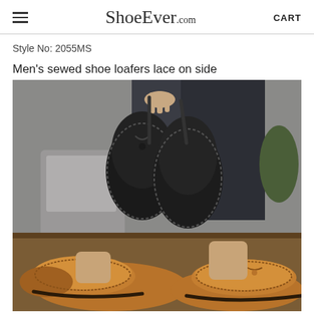ShoeEver.com  CART
Style No: 2055MS
Men's sewed shoe loafers lace on side
[Figure (photo): Product photo showing two pairs of men's sewed loafer shoes. A person holds up a pair of dark/black textured loafers with visible hand-stitching and lace detail on side. Below, a pair of tan/brown leather sewed loafers with similar hand-stitching is visible on a wooden surface, with the person's legs in dark trousers visible in the background.]